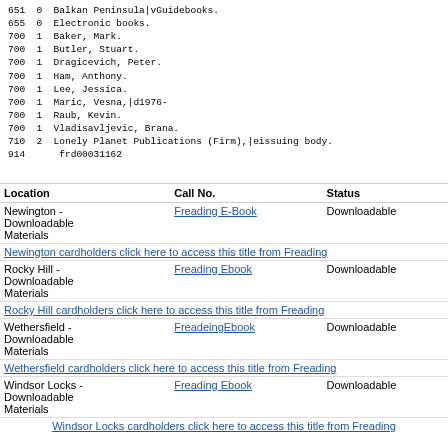651  0  Balkan Peninsula|vGuidebooks.
655  0  Electronic books.
700  1  Baker, Mark.
700  1  Butler, Stuart.
700  1  Dragicevich, Peter.
700  1  Ham, Anthony.
700  1  Lee, Jessica.
700  1  Maric, Vesna,|d1976-
700  1  Raub, Kevin.
700  1  Vladisavljevic, Brana.
710  2  Lonely Planet Publications (Firm),|eissuing body.
914      frd00031162
| Location | Call No. | Status |
| --- | --- | --- |
| Newington - Downloadable Materials | Freading E-Book | Downloadable |
| Newington cardholders click here to access this title from Freading |  |  |
| Rocky Hill - Downloadable Materials | Freading Ebook | Downloadable |
| Rocky Hill cardholders click here to access this title from Freading |  |  |
| Wethersfield - Downloadable Materials | FreadeingEbook | Downloadable |
| Wethersfield cardholders click here to access this title from Freading |  |  |
| Windsor Locks - Downloadable Materials | Freading Ebook | Downloadable |
| Windsor Locks cardholders click here to access this title from Freading |  |  |